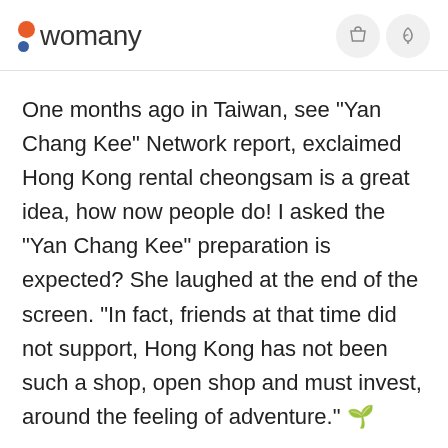womany
One months ago in Taiwan, see "Yan Chang Kee" Network report, exclaimed Hong Kong rental cheongsam is a great idea, how now people do! I asked the "Yan Chang Kee" preparation is expected? She laughed at the end of the screen. "In fact, friends at that time did not support, Hong Kong has not been such a shop, open shop and must invest, around the feeling of adventure." 🌱
Ding University to read fashion design, because Hong Kong to do fashion survival is not easy, she graduated after the airline executive, coffee shop